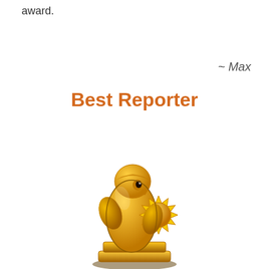award.
~ Max
Best Reporter
[Figure (illustration): A golden trophy in the shape of a cartoon penguin/bird character holding a golden sun, mounted on a stacked golden base. The figure is styled as a shiny gold award statuette.]